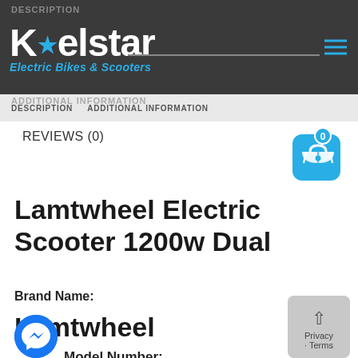Kelstar Electric Bikes & Scooters
DESCRIPTION   ADDITIONAL INFORMATION
REVIEWS (0)
Lamtwheel Electric Scooter 1200w Dual
Brand Name:
Lamtwheel
Model Number:
EZ12 Pro 1200W Scooter Electrico Adulto